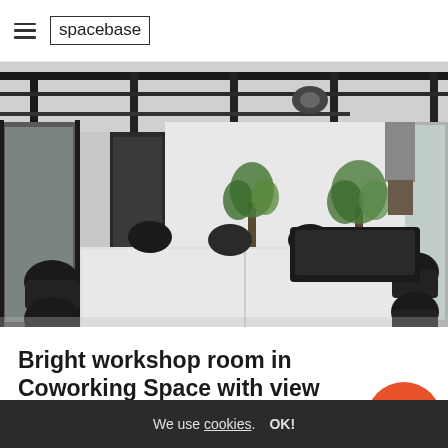spacebase
[Figure (photo): Black and white interior photo of a bright workshop/meeting room in a coworking space. A long white conference table is centered with black office chairs around it. Industrial black ceiling beams and piping are visible overhead. Large windows on the left let in natural light. Plants are visible in the background. A projector is mounted on the ceiling.]
Bright workshop room in Coworking Space with view over the city
Basislager Coworking - Mount Everest. Meeting room in Leipzig - Zentrum-Süd
We use cookies. OK!